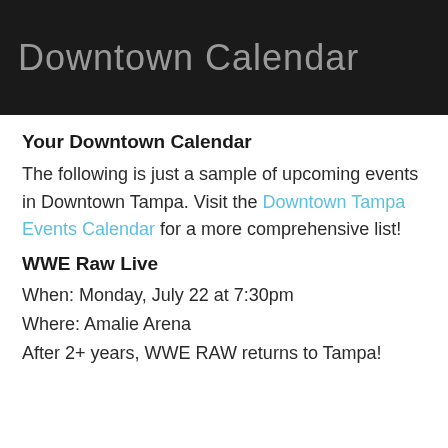[Figure (illustration): Dark banner header with 'Downtown Calendar' text in light grey on a dark/black background]
Your Downtown Calendar
The following is just a sample of upcoming events in Downtown Tampa. Visit the Downtown Tampa Events Calendar for a more comprehensive list!
WWE Raw Live
When: Monday, July 22 at 7:30pm
Where: Amalie Arena
After 2+ years, WWE RAW returns to Tampa!